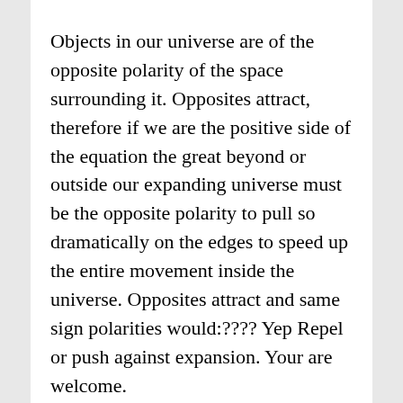Objects in our universe are of the opposite polarity of the space surrounding it. Opposites attract, therefore if we are the positive side of the equation the great beyond or outside our expanding universe must be the opposite polarity to pull so dramatically on the edges to speed up the entire movement inside the universe. Opposites attract and same sign polarities would:???? Yep Repel or push against expansion. Your are welcome.
[Figure (illustration): A blue and white geometric tile pattern avatar/profile image with repeating diamond and star shapes arranged in a square grid.]